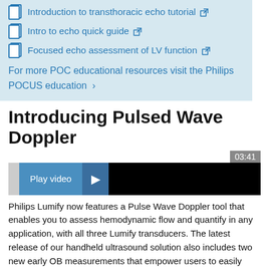Introduction to transthoracic echo tutorial ↗
Intro to echo quick guide ↗
Focused echo assessment of LV function ↗
For more POC educational resources visit the Philips POCUS education ›
Introducing Pulsed Wave Doppler
[Figure (screenshot): Video thumbnail with play button showing 'Play video' text with right-arrow button, duration 03:41, black background]
Philips Lumify now features a Pulse Wave Doppler tool that enables you to assess hemodynamic flow and quantify in any application, with all three Lumify transducers. The latest release of our handheld ultrasound solution also includes two new early OB measurements that empower users to easily assess early-stage fetal growth.